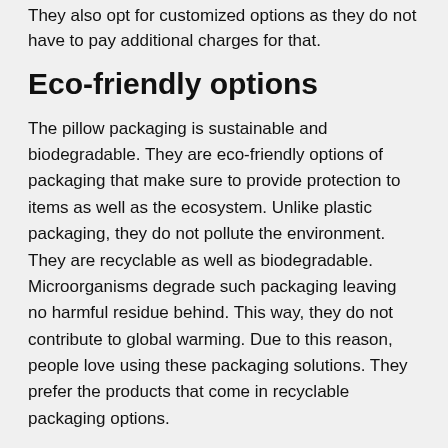They also opt for customized options as they do not have to pay additional charges for that.
Eco-friendly options
The pillow packaging is sustainable and biodegradable. They are eco-friendly options of packaging that make sure to provide protection to items as well as the ecosystem. Unlike plastic packaging, they do not pollute the environment. They are recyclable as well as biodegradable. Microorganisms degrade such packaging leaving no harmful residue behind. This way, they do not contribute to global warming. Due to this reason, people love using these packaging solutions. They prefer the products that come in recyclable packaging options.
Specially textured surfaces